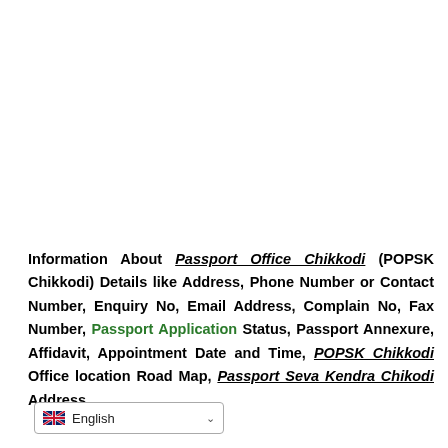Information About Passport Office Chikkodi (POPSK Chikkodi) Details like Address, Phone Number or Contact Number, Enquiry No, Email Address, Complain No, Fax Number, Passport Application Status, Passport Annexure, Affidavit, Appointment Date and Time, POPSK Chikkodi Office location Road Map, Passport Seva Kendra Chikodi Address.
English